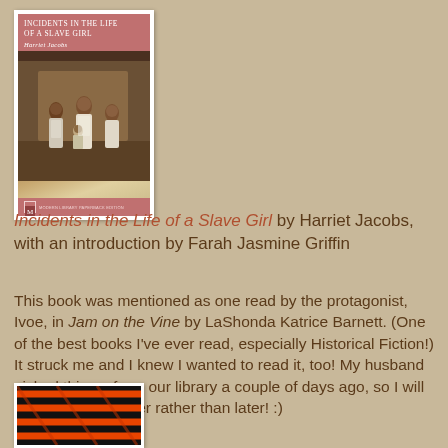[Figure (illustration): Book cover of 'Incidents in the Life of a Slave Girl' by Harriet Jacobs, published by Modern Library. Cover shows a painting of a group of women and children.]
Incidents in the Life of a Slave Girl by Harriet Jacobs, with an introduction by Farah Jasmine Griffin
This book was mentioned as one read by the protagonist, Ivoe, in Jam on the Vine by LaShonda Katrice Barnett. (One of the best books I've ever read, especially Historical Fiction!) It struck me and I knew I wanted to read it, too! My husband picked this up from our library a couple of days ago, so I will be reading it sooner rather than later! :)
[Figure (illustration): Partial view of a second book cover showing orange and black striped pattern at the bottom of the page.]